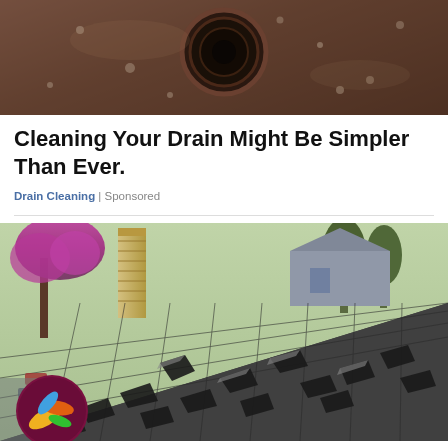[Figure (photo): Close-up photo of a circular drain with water droplets on a wet brown surface]
Cleaning Your Drain Might Be Simpler Than Ever.
Drain Cleaning | Sponsored
[Figure (photo): Photo of a damaged roof with scattered and peeling asphalt shingles, a brick chimney, blooming tree, and houses in background. A circular logo badge with colorful icon is overlaid at bottom-left.]
5 Best Roofing Companies In Ashburn